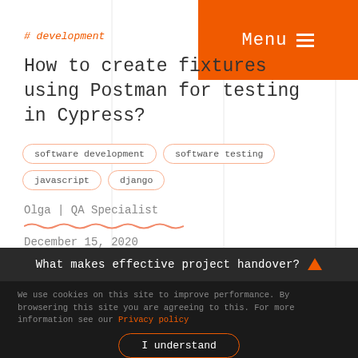Menu
# development
How to create fixtures using Postman for testing in Cypress?
software development
software testing
javascript
django
Olga | QA Specialist
December 15, 2020
What makes effective project handover?
We use cookies on this site to improve performance. By browsering this site you are agreeing to this. For more information see our Privacy policy
I understand